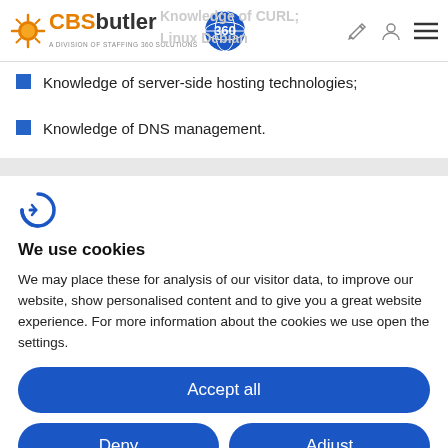CBSbutler 360 — Knowledge of CURL; Linux Debian (header with logo and nav icons)
Knowledge of server-side hosting technologies;
Knowledge of DNS management.
[Figure (logo): Cookie consent icon — stylized C with a circular arrow in blue]
We use cookies
We may place these for analysis of our visitor data, to improve our website, show personalised content and to give you a great website experience. For more information about the cookies we use open the settings.
Accept all
Deny
Adjust